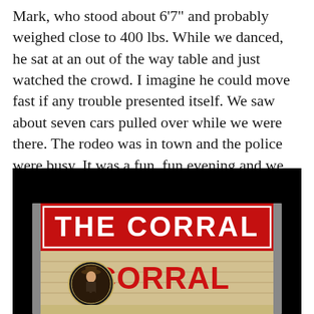Mark, who stood about 6'7" and probably weighed close to 400 lbs. While we danced, he sat at an out of the way table and just watched the crowd. I imagine he could move fast if any trouble presented itself. We saw about seven cars pulled over while we were there. The rodeo was in town and the police were busy. It was a fun, fun evening and we didn't want to leave.
[Figure (photo): Nighttime photo of 'The Corral' sign. A large illuminated sign with red banner reading 'THE CORRAL' in white block letters at top, below which is a beige/wood-paneled section with the word 'CORRAL' in red letters and a circular cowboy logo/emblem. Dark black night sky background.]